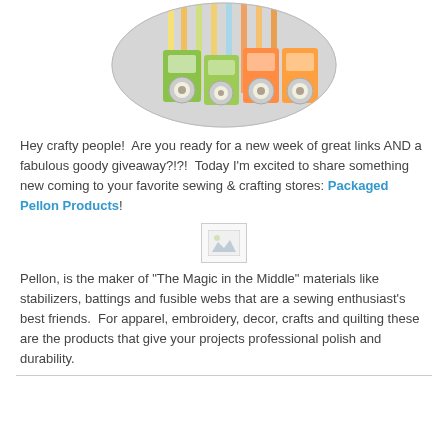[Figure (photo): Photo of packaged Pellon products including rolls of tape in green and orange packaging, displayed in a circular/oval vignette]
Hey crafty people!  Are you ready for a new week of great links AND a fabulous goody giveaway?!?!  Today I'm excited to share something new coming to your favorite sewing & crafting stores: Packaged Pellon Products!
[Figure (photo): Small broken/placeholder image icon]
Pellon, is the maker of "The Magic in the Middle" materials like stabilizers, battings and fusible webs that are a sewing enthusiast's best friends.  For apparel, embroidery, decor, crafts and quilting these are the products that give your projects professional polish and durability.